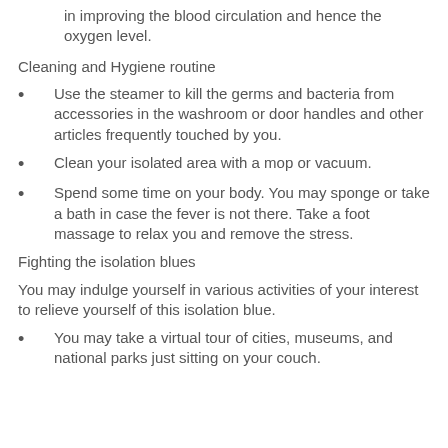in improving the blood circulation and hence the oxygen level.
Cleaning and Hygiene routine
Use the steamer to kill the germs and bacteria from accessories in the washroom or door handles and other articles frequently touched by you.
Clean your isolated area with a mop or vacuum.
Spend some time on your body. You may sponge or take a bath in case the fever is not there. Take a foot massage to relax you and remove the stress.
Fighting the isolation blues
You may indulge yourself in various activities of your interest to relieve yourself of this isolation blue.
You may take a virtual tour of cities, museums, and national parks just sitting on your couch.